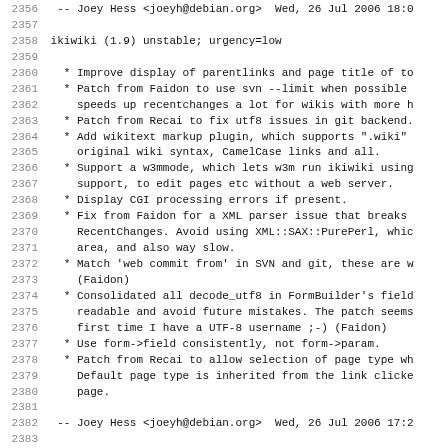2356   -- Joey Hess <joeyh@debian.org>  Wed, 26 Jul 2006 18:0
2357
2358 ikiwiki (1.9) unstable; urgency=low
2359
2360   * Improve display of parentlinks and page title of to
2361   * Patch from Faidon to use svn --limit when possible
2362     speeds up recentchanges a lot for wikis with more h
2363   * Patch from Recai to fix utf8 issues in git backend.
2364   * Add wikitext markup plugin, which supports ".wiki"
2365     original wiki syntax, CamelCase links and all.
2366   * Support a w3mmode, which lets w3m run ikiwiki using
2367     support, to edit pages etc without a web server.
2368   * Display CGI processing errors if present.
2369   * Fix from Faidon for a XML parser issue that breaks
2370     RecentChanges. Avoid using XML::SAX::PurePerl, whic
2371     area, and also way slow.
2372   * Match 'web commit from' in SVN and git, these are w
2373     (Faidon)
2374   * Consolidated all decode_utf8 in FormBuilder's field
2375     readable and avoid future mistakes. The patch seems
2376     first time I have a UTF-8 username ;-) (Faidon)
2377   * Use form->field consistently, not form->param.
2378   * Patch from Recai to allow selection of page type wh
2379     Default page type is inherited from the link clicke
2380     page.
2381
2382   -- Joey Hess <joeyh@debian.org>  Wed, 26 Jul 2006 17:2
2383
2384 ikiwiki (1.8) unstable; urgency=low
2385
2386   * Fix orphans plugin to not count a link to a nonexis
2387     for a page not being an orphan.